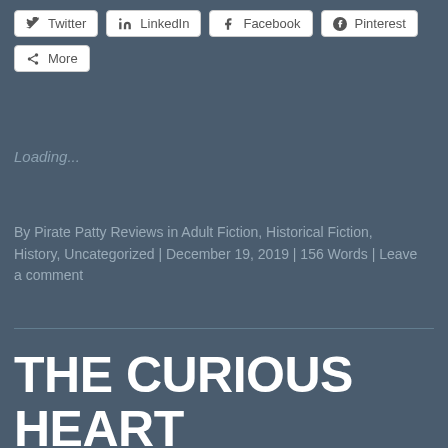[Figure (screenshot): Social media share buttons: Twitter, LinkedIn, Facebook, Pinterest, and More]
Loading...
By Pirate Patty Reviews in Adult Fiction, Historical Fiction, History, Uncategorized | December 19, 2019 | 156 Words | Leave a comment
THE CURIOUS HEART OF AILSA RAE by Stephanie Butland